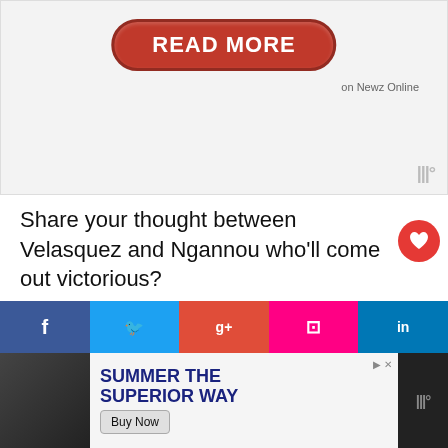[Figure (screenshot): Red 'READ MORE on Newz Online' button in a rounded pill shape on a light grey advertisement banner area]
Share your thought between Velasquez and Ngannou who'll come out victorious?
For the latest news and updates please follow u YouTube, Instagram, Facebook and Twitter.
[Figure (infographic): What's Next section showing Francis Ngannou Ca... with a thumbnail image]
[Figure (screenshot): Social media sharing bar with Facebook, Twitter, Google+, Flipboard, and LinkedIn icons]
[Figure (screenshot): Bottom advertisement strip: SUMMER THE SUPERIOR WAY with Buy Now button and close button]